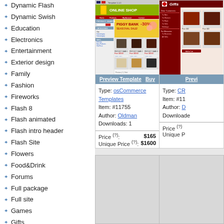Dynamic Flash
Dynamic Swish
Education
Electronics
Entertainment
Exterior design
Family
Fashion
Fireworks
Flash 8
Flash animated
Flash intro header
Flash Site
Flowers
Food&Drink
Forums
Full package
Full site
Games
Gifts
Hosting
Hotels
Icon Sets
Industrial
Interior&Furniture
Internet
Jewelry
Last added
Law
Logosets
[Figure (screenshot): osCommerce online shop template screenshot showing product grid with dark merchandise items]
Preview Template   Buy
Type: osCommerce Templates
Item: #11755
Author: Oldman
Downloads: 1
Price (?): $165
Unique Price (?): $1600
[Figure (screenshot): Gifts website template screenshot with dark red theme]
Previ
Type: CR
Item: #11
Author: D
Downloads:
Price (?)
Unique P
[Figure (other): Placeholder grey card]
[Figure (other): Placeholder grey card]